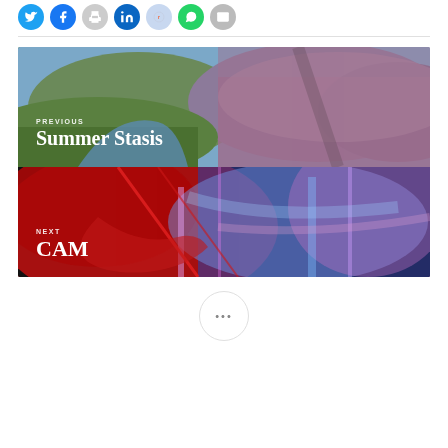[Figure (other): Row of social share icon buttons: Twitter (blue), Facebook (blue), Print (gray), LinkedIn (blue), Reddit (light blue), WhatsApp (green), Email (gray)]
[Figure (photo): Navigation block split into two panels. Top panel: aerial photo of Scottish highlands with heather-covered hills and a river valley, labeled PREVIOUS / Summer Stasis. Bottom panel: abstract glitch-art photo with red and iridescent swirling colors of a face, labeled NEXT / CAM.]
[Figure (other): Circular button with three dots (ellipsis menu)]